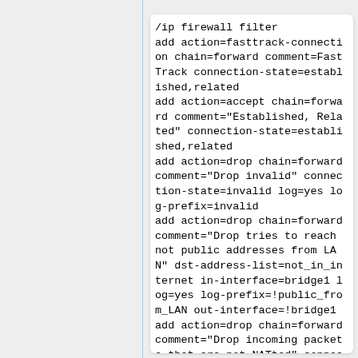[Figure (screenshot): Code block showing MikroTik RouterOS /ip firewall filter configuration commands with fasttrack-connection, accept, and drop rules for forward chain]